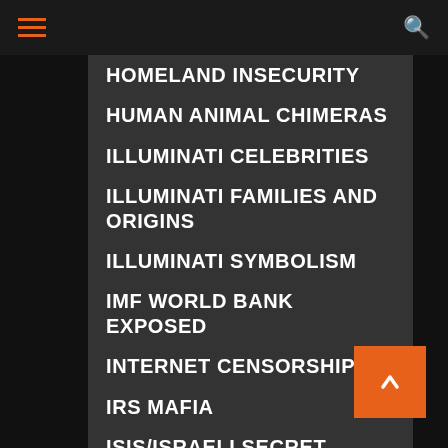HOMELAND INSECURITY
HUMAN ANIMAL CHIMERAS
ILLUMINATI CELEBRITIES
ILLUMINATI FAMILIES AND ORIGINS
ILLUMINATI SYMBOLISM
IMF WORLD BANK EXPOSED
INTERNET CENSORSHIP
IRS MAFIA
ISIS/ISRAELI SECRET INTELLIGENCE SERVICE
ISLAMIC MUSLIM RAPE RINGS
ISLAMIC TERRORIST INVASION
JOE BIDEN MS13 CHILD TRAFFICKING
KLAUS SCHWABS GREAT RESET
LIBERAL LEFTIST LUNATICS
MASK NAZI CULT SLAVE TRAINING